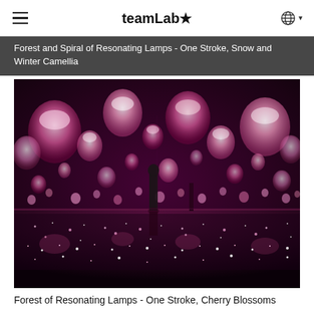teamLab★
Forest and Spiral of Resonating Lamps - One Stroke, Snow and Winter Camellia
[Figure (photo): An immersive installation photograph showing a dark room filled with hundreds of glowing pink/magenta rounded lamp shapes suspended at various heights, creating an infinity mirror effect. A silhouette of a person stands among the lamps. The floor reflects the lamps. The lamps are painted in shades of pink, white, and magenta.]
Forest of Resonating Lamps - One Stroke, Cherry Blossoms